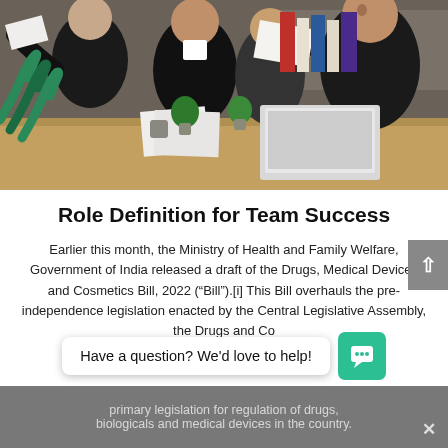[Figure (photo): Business meeting scene: several people around a table with a laptop, papers, and small plants. Person on left has green striped sleeve. Dark-suited individuals discussing documents.]
Role Definition for Team Success
Earlier this month, the Ministry of Health and Family Welfare, Government of India released a draft of the Drugs, Medical Devices and Cosmetics Bill, 2022 (“Bill”).[i] This Bill overhauls the pre-independence legislation enacted by the Central Legislative Assembly, the Drugs and Cosmetics Act, 1940 which had served as the primary legislation for regulation of drugs, biologicals and medical devices in the country.
Have a question? We’d love to help!